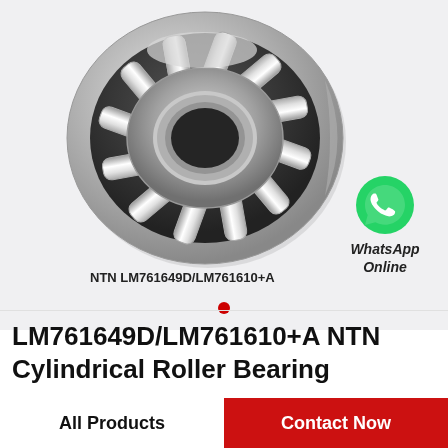[Figure (photo): Cylindrical roller bearing product photo (NTN LM761649D/LM761610+A), shown at an angle with silver/chrome rollers and dark cage, on a light gray background]
NTN LM761649D/LM761610+A
[Figure (logo): WhatsApp green speech-bubble icon with phone handset, labeled 'WhatsApp Online']
LM761649D/LM761610+A NTN Cylindrical Roller Bearing
All Products
Contact Now